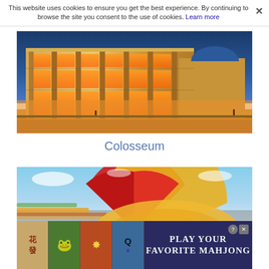This website uses cookies to ensure you get the best experience. By continuing to browse the site you consent to the use of cookies. Learn more
[Figure (photo): Photograph of the Colosseum in Rome, illuminated at night/dusk with orange-yellow interior lighting against a blue sky]
Colosseum
[Figure (photo): Abstract colorful image with red, orange, yellow fan/arc shapes against a blue sky background, appears to be a logo or banner for a Mahjong game]
[Figure (infographic): Advertisement banner: Play Your Favorite Mahjong, showing four mahjong tiles with Chinese characters/symbols and a Q with diamond suit, on dark background]